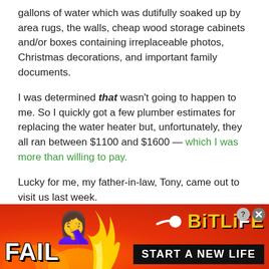gallons of water which was dutifully soaked up by area rugs, the walls, cheap wood storage cabinets and/or boxes containing irreplaceable photos, Christmas decorations, and important family documents.
I was determined that wasn't going to happen to me. So I quickly got a few plumber estimates for replacing the water heater but, unfortunately, they all ran between $1100 and $1600 — which I was more than willing to pay.
Lucky for me, my father-in-law, Tony, came out to visit us last week.
Tony is an awesome car mechanic and one of those do-everything-yourself types.
[Figure (illustration): Advertisement banner for BitLife mobile game. Red/orange fiery background with 'FAIL' text in white bold font on left, cartoon blonde woman facepalming emoji in center, yellow flame graphic, sperm icon with BitLife logo in yellow on right, black bar reading 'START A NEW LIFE' at bottom right, close button top right.]